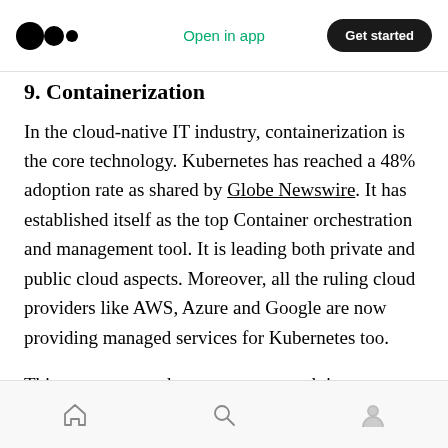Medium logo | Open in app | Get started
9. Containerization
In the cloud-native IT industry, containerization is the core technology. Kubernetes has reached a 48% adoption rate as shared by Globe Newswire. It has established itself as the top Container orchestration and management tool. It is leading both private and public cloud aspects. Moreover, all the ruling cloud providers like AWS, Azure and Google are now providing managed services for Kubernetes too.
This year, we are about to see a growth in
Home | Search | Profile